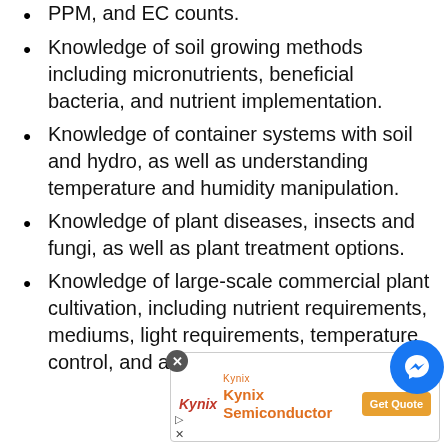PPM, and EC counts.
Knowledge of soil growing methods including micronutrients, beneficial bacteria, and nutrient implementation.
Knowledge of container systems with soil and hydro, as well as understanding temperature and humidity manipulation.
Knowledge of plant diseases, insects and fungi, as well as plant treatment options.
Knowledge of large-scale commercial plant cultivation, including nutrient requirements, mediums, light requirements, temperature control, and air flow, etc.
[Figure (infographic): Advertisement for Kynix Semiconductor with a Get Quote button, a close button, and a Facebook Messenger chat button overlay]